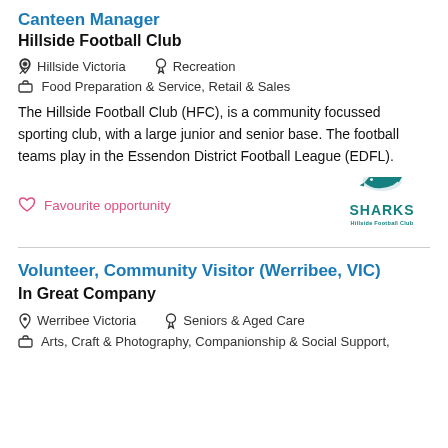Canteen Manager
Hillside Football Club
Hillside Victoria   Recreation
Food Preparation & Service, Retail & Sales
The Hillside Football Club (HFC), is a community focussed sporting club, with a large junior and senior base. The football teams play in the Essendon District Football League (EDFL).
Favourite opportunity
[Figure (logo): Hillside Football Club Sharks logo — teal shark with SHARKS text and Hillside Football Club subtitle]
Volunteer, Community Visitor (Werribee, VIC)
In Great Company
Werribee Victoria   Seniors & Aged Care
Arts, Craft & Photography, Companionship & Social Support,